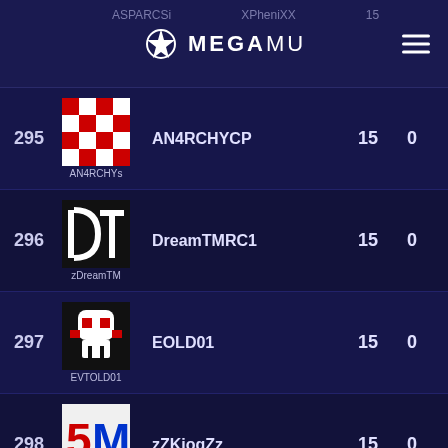MEGAMU
| Rank | Avatar/Guild | Player | Score | Stat2 |
| --- | --- | --- | --- | --- |
| 295 | AN4RCHYs | AN4RCHYCP | 15 | 0 |
| 296 | zDreamTM | DreamTMRC1 | 15 | 0 |
| 297 | EVTOLD01 | EOLD01 | 15 | 0 |
| 298 | SACOMUXO | zZKiogZz | 15 | 0 |
| 299 | DIEHARD | TaliON | 15 | 0 |
| 300 |  |  |  |  |